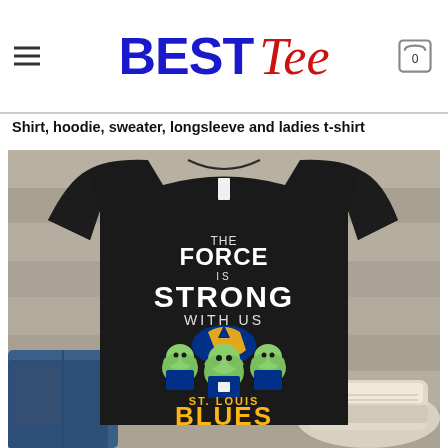BEST Tee
Shirt, hoodie, sweater, longsleeve and ladies t-shirt
[Figure (photo): Product photo of a black t-shirt on a wooden surface with jeans and sneakers. The shirt features Baby Yoda (The Child) characters wearing St. Louis Blues jerseys with the team logo, and text reading 'THE FORCE IS STRONG WITH US ST. LOUIS BLUES'.]